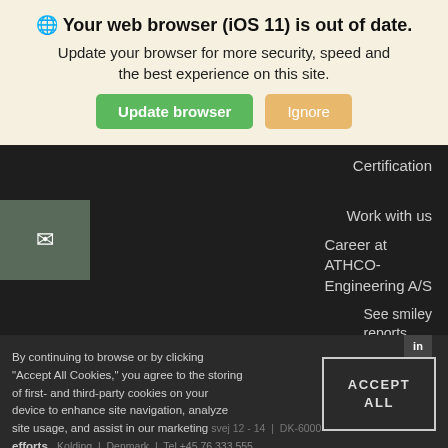Your web browser (iOS 11) is out of date.
Update your browser for more security, speed and the best experience on this site.
Update browser | Ignore
Certification
Work with us
Career at ATHCO-Engineering A/S
See smiley reports
[Figure (screenshot): Email envelope icon on dark background]
[Figure (logo): LinkedIn icon box]
By continuing to browse or by clicking "Accept All Cookies," you agree to the storing of first- and third-party cookies on your device to enhance site navigation, analyze site usage, and assist in our marketing efforts.
ACCEPT ALL
svej 12 - 14  |  DK-6000  |  Kolding  |  Denmark  |  Tel +45 76 333 555